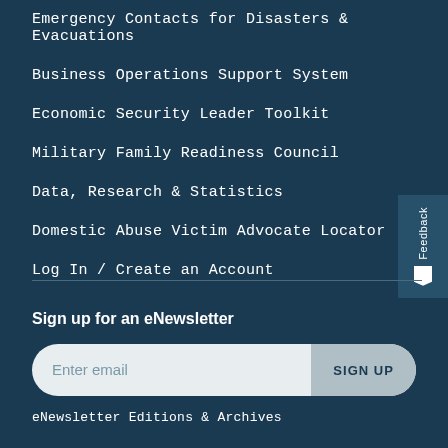Emergency Contacts for Disasters & Evacuations
Business Operations Support System
Economic Security Leader Toolkit
Military Family Readiness Council
Data, Research & Statistics
Domestic Abuse Victim Advocate Locator
Log In / Create an Account
Sign up for an eNewsletter
Enter email
SIGN UP
eNewsletter Editions & Archives